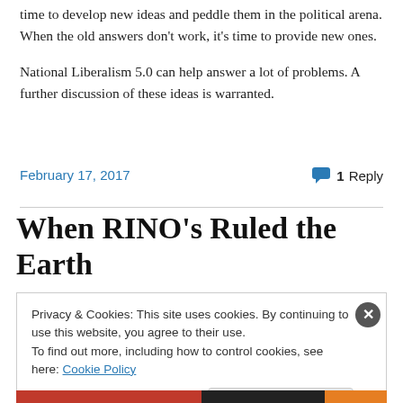time to develop new ideas and peddle them in the political arena. When the old answers don't work, it's time to provide new ones.
National Liberalism 5.0 can help answer a lot of problems. A further discussion of these ideas is warranted.
February 17, 2017
1 Reply
When RINO's Ruled the Earth
Privacy & Cookies: This site uses cookies. By continuing to use this website, you agree to their use. To find out more, including how to control cookies, see here: Cookie Policy
Close and accept